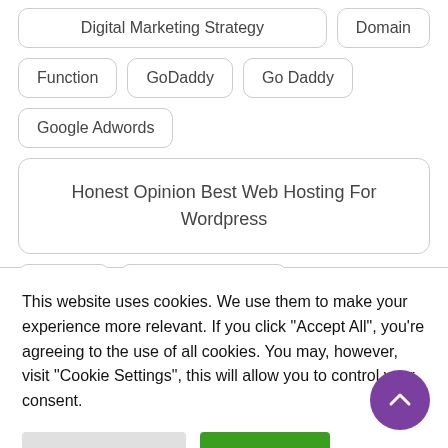Digital Marketing Strategy
Domain
Function
GoDaddy
Go Daddy
Google Adwords
Honest Opinion Best Web Hosting For Wordpress
Hosting
Internet Marketing
This website uses cookies. We use them to make your experience more relevant. If you click "Accept All", you're agreeing to the use of all cookies. You may, however, visit "Cookie Settings", this will allow you to control your consent.
Cookie Settings
Accept All